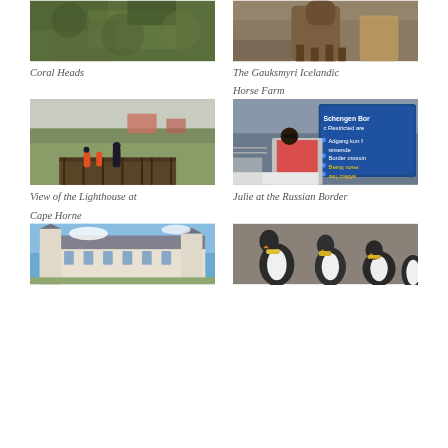[Figure (photo): Coral Heads - aerial or close view of coral/green vegetation]
Coral Heads
[Figure (photo): The Gauksmyri Icelandic Horse Farm - brown Icelandic horses in a dirt pen]
The Gauksmyri Icelandic Horse Farm
[Figure (photo): View of the Lighthouse at Cape Horne - people on a wooden platform/boardwalk on a green hillside]
View of the Lighthouse at Cape Horne
[Figure (photo): Julie at the Russian Border - person next to blue Schengen Border sign in snowy setting]
Julie at the Russian Border
[Figure (photo): French chateau with white walls and grey roofs against blue sky]
[Figure (photo): King penguins grouped together on rocky ground]